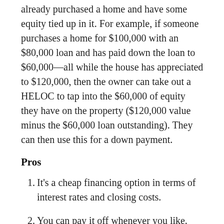already purchased a home and have some equity tied up in it. For example, if someone purchases a home for $100,000 with an $80,000 loan and has paid down the loan to $60,000—all while the house has appreciated to $120,000, then the owner can take out a HELOC to tap into the $60,000 of equity they have on the property ($120,000 value minus the $60,000 loan outstanding). They can then use this for a down payment.
Pros
It's a cheap financing option in terms of interest rates and closing costs.
You can pay it off whenever you like. You pay on the outstanding balance, not the entire HELOC.